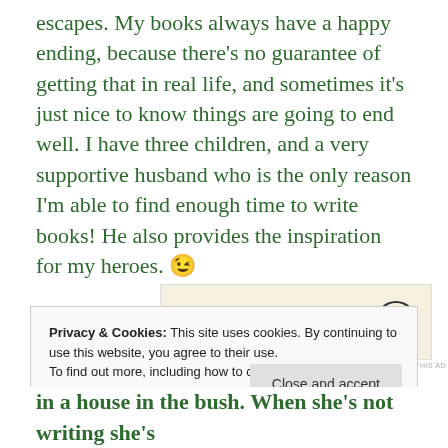escapes. My books always have a happy ending, because there's no guarantee of getting that in real life, and sometimes it's just nice to know things are going to end well. I have three children, and a very supportive husband who is the only reason I'm able to find enough time to write books! He also provides the inspiration for my heroes. 😉
[Figure (screenshot): WordPress advertisement banner: 'Professionally designed sites in less than a week' with WordPress logo (W in circle)]
Privacy & Cookies: This site uses cookies. By continuing to use this website, you agree to their use.
To find out more, including how to control cookies, see here: Cookie Policy
Close and accept
in a house in the bush. When she's not writing she's